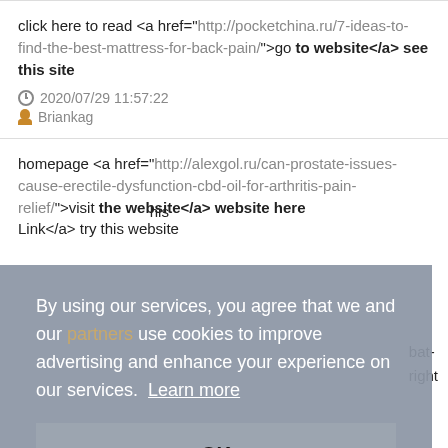click here to read <a href="http://pocketchina.ru/7-ideas-to-find-the-best-mattress-for-back-pain/">go to website</a> see this site
2020/07/29 11:57:22
Briankag
homepage <a href="http://alexgol.ru/can-prostate-issues-cause-erectile-dysfunction-cbd-oil-for-arthritis-pain-relief/">visit the website</a> website here
By using our services, you agree that we and our partners use cookies to improve advertising and enhance your experience on our services. Learn more
OK
Link</a> try this website